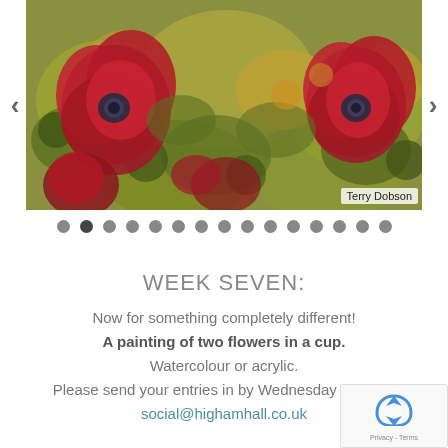[Figure (photo): A close-up painting of red poppies/flowers on a yellow-green textured background, with navigation arrows on left and right sides. Artist credit 'Terry Dobson' in bottom right corner.]
[Figure (other): A row of 15 navigation dots, with the second dot darker/active indicating current slide position.]
WEEK SEVEN:
Now for something completely different!
A painting of two flowers in a cup.
Watercolour or acrylic.
Please send your entries in by Wednesday 10th Ma
social@highamhall.co.uk